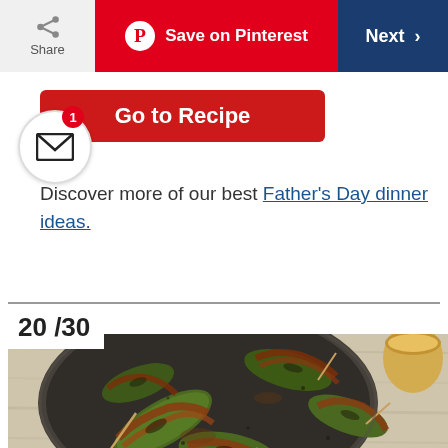Share | Save on Pinterest | Next >
Go to Recipe
Discover more of our best Father's Day dinner ideas.
20 /30
[Figure (photo): Bacon-wrapped jalapeño poppers on a dark stone/ceramic plate, photographed from above on a light wood surface]